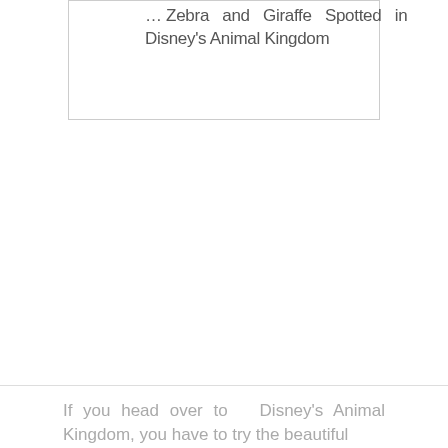[Figure (other): A bordered box showing a partial title text about Zebra and Giraffe spotted in Disney's Animal Kingdom]
If you head over to Disney's Animal Kingdom, you have to try the beautiful